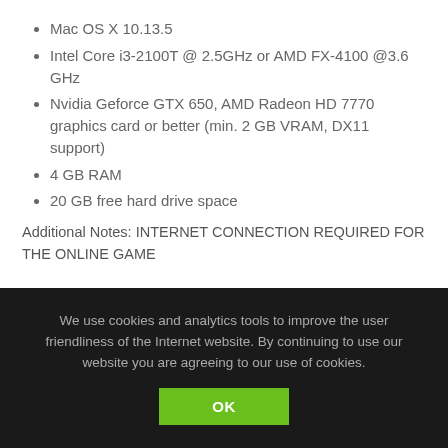Mac OS X 10.13.5
Intel Core i3-2100T @ 2.5GHz or AMD FX-4100 @3.6 GHz
Nvidia Geforce GTX 650, AMD Radeon HD 7770 graphics card or better (min. 2 GB VRAM, DX11 support)
4 GB RAM
20 GB free hard drive space
Additional Notes: INTERNET CONNECTION REQUIRED FOR THE ONLINE GAME
Farming Simulator 17
Windows Version
Windows 7, Windows 8(.1) or Windows 10
2.0 GHz Intel or equivalent AMD dual-core processor
We use cookies and analytics tools to improve the user friendliness of the Internet website. By continuing to use our website you are agreeing to our use of cookies.